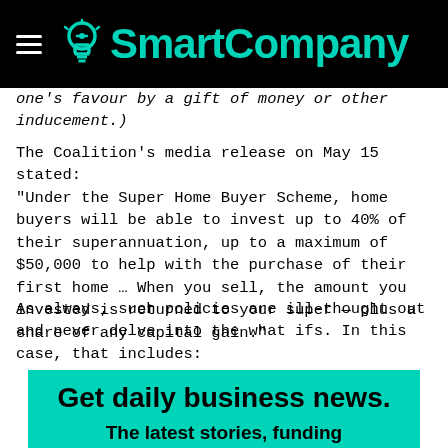SmartCompany
one's favour by a gift of money or other inducement.)
The Coalition's media release on May 15 stated: “Under the Super Home Buyer Scheme, home buyers will be able to invest up to 40% of their superannuation, up to a maximum of $50,000 to help with the purchase of their first home … When you sell, the amount you invested is returned to your super — plus a share of any capital gain.”
As always, such policies are ill-thought out and never delve into the what ifs. In this case, that includes:
[Figure (infographic): Teal/cyan promotional box with text 'Get daily business news.' and subtitle 'The latest stories, funding']